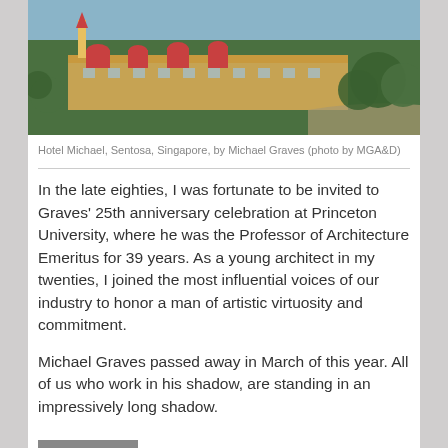[Figure (photo): Aerial photograph of Hotel Michael, Sentosa, Singapore — a colorful building complex surrounded by trees, rooftop structures visible]
Hotel Michael, Sentosa, Singapore, by Michael Graves (photo by MGA&D)
In the late eighties, I was fortunate to be invited to Graves' 25th anniversary celebration at Princeton University, where he was the Professor of Architecture Emeritus for 39 years. As a young architect in my twenties, I joined the most influential voices of our industry to honor a man of artistic virtuosity and commitment.
Michael Graves passed away in March of this year. All of us who work in his shadow, are standing in an impressively long shadow.
+ share
BAUHAUS, CHARLES GWATHMEY, DESIGN CULTURE, HOTEL MICHAEL, HUMANISTIC DESIGN, JOHN HEIDUK